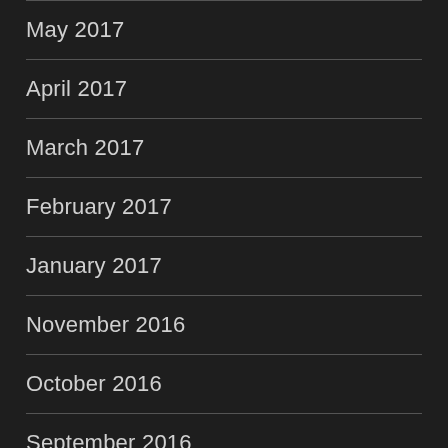May 2017
April 2017
March 2017
February 2017
January 2017
November 2016
October 2016
September 2016